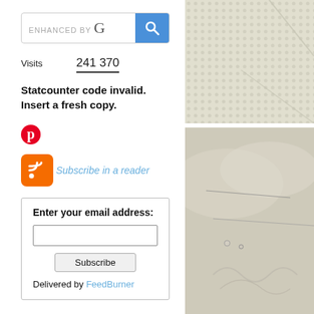[Figure (screenshot): Search bar with ENHANCED BY Google text and blue search button]
Visits   241 370
Statcounter code invalid. Insert a fresh copy.
[Figure (logo): Pinterest icon (red circular P logo)]
[Figure (logo): RSS feed orange icon with 'Subscribe in a reader' link]
Enter your email address:
Subscribe
Delivered by FeedBurner
[Figure (photo): Close-up photo of white textured fabric/linen with raised dot pattern]
[Figure (photo): Close-up photo of white fabric with pins/needles and embroidery]